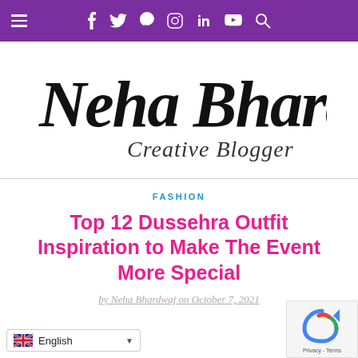Navigation bar with hamburger menu and social icons: f (Facebook), Twitter, Pinterest, Instagram, LinkedIn, YouTube, Search
[Figure (logo): Neha Bhardwaj Creative Blogger logo in cursive/script font, black text on white background]
FASHION
Top 12 Dussehra Outfit Inspiration to Make The Event More Special
by Neha Bhardwaj on October 7, 2021